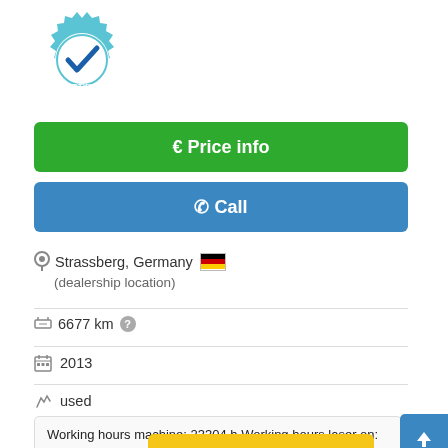[Figure (logo): Certified Dealer badge - gear icon with checkmark and text CERTIFIED DEALER in teal/blue]
€ Price info
✆ Call
Strassberg, Germany 🇩🇪 (dealership location)
6677 km ?
2013
used
Working hours machine: 23304 h Working hours laser on: 22804 5 h Laser power: 44 0 x 1500 mm Bb9qlixt8t Max. steel: 25 mm Max. stainless ...
[Figure (other): Save search query button overlay in yellow/gold]
[Figure (other): Scroll to top button in blue with upward arrow]